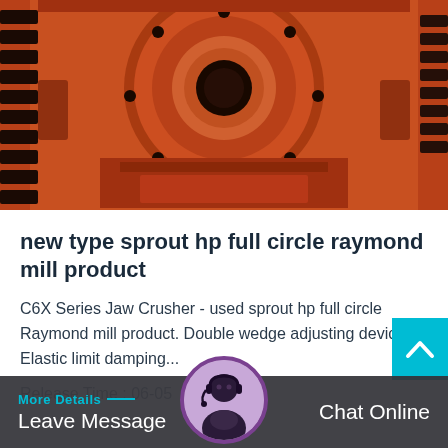[Figure (photo): Close-up of a large orange industrial mill/crusher machine showing a circular housing with gear teeth on sides, dark bolt holes, and heavy cast iron components.]
new type sprout hp full circle raymond mill product
C6X Series Jaw Crusher - used sprout hp full circle Raymond mill product. Double wedge adjusting device, Elastic limit damping...
Release Time : 06-05
More Details — Leave Message
Chat Online